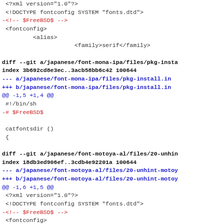<?xml version="1.0"?>
<!DOCTYPE fontconfig SYSTEM "fonts.dtd">
-<!-- $FreeBSD$ -->
<fontconfig>
        <alias>
                    <family>serif</family>

diff --git a/japanese/font-mona-ipa/files/pkg-insta
index 3b692cd8e3ec..3acb58bb6c42 100644
--- a/japanese/font-mona-ipa/files/pkg-install.in
+++ b/japanese/font-mona-ipa/files/pkg-install.in
@@ -1,5 +1,4 @@
 #!/bin/sh
-# $FreeBSD$

 catfontsdir ()
 {

diff --git a/japanese/font-motoya-al/files/20-unhin
index 18db3ed906ef..3cdb4e92201a 100644
--- a/japanese/font-motoya-al/files/20-unhint-motoy
+++ b/japanese/font-motoya-al/files/20-unhint-motoy
@@ -1,6 +1,5 @@
 <?xml version="1.0"?>
 <!DOCTYPE fontconfig SYSTEM "fonts.dtd">
-<!-- $FreeBSD$ -->
 <fontconfig>
         <match target="font">
                 <or>